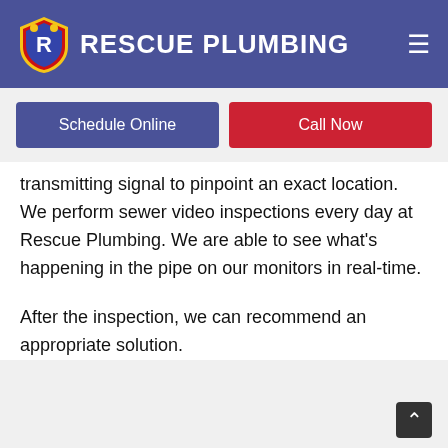RESCUE PLUMBING
attached to a special monitor that can record.
We can even use the sewer camera to send out a transmitting signal to pinpoint an exact location. We perform sewer video inspections every day at Rescue Plumbing. We are able to see what’s happening in the pipe on our monitors in real-time.
After the inspection, we can recommend an appropriate solution.